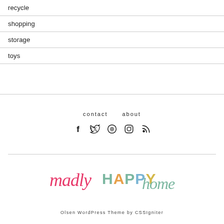recycle
shopping
storage
toys
contact   about
[Figure (other): Social media icons: Facebook, Twitter, Pinterest, Instagram, RSS]
[Figure (logo): madly HAPPY home logo in colorful script and sans-serif text]
Olsen WordPress Theme by CSSIgniter